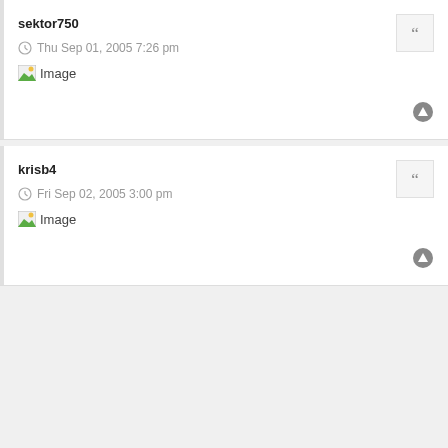sektor750
Thu Sep 01, 2005 7:26 pm
[Figure (other): Broken image placeholder with label 'Image']
krisb4
Fri Sep 02, 2005 3:00 pm
[Figure (other): Broken image placeholder with label 'Image']